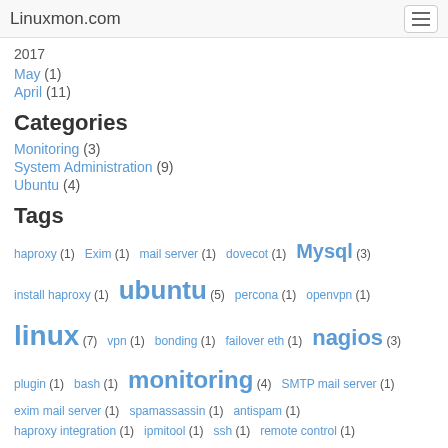Linuxmon.com
2017
May (1)
April (11)
Categories
Monitoring (3)
System Administration (9)
Ubuntu (4)
Tags
haproxy (1)  Exim (1)  mail server (1)  dovecot (1)  Mysql (3)  install haproxy (1)  ubuntu (5)  percona (1)  openvpn (1)  linux (7)  vpn (1)  bonding (1)  failover eth (1)  nagios (3)  plugin (1)  bash (1)  monitoring (4)  SMTP mail server (1)  exim mail server (1)  spamassassin (1)  antispam (1)  haproxy integration (1)  ipmitool (1)  ssh (1)  remote control (1)